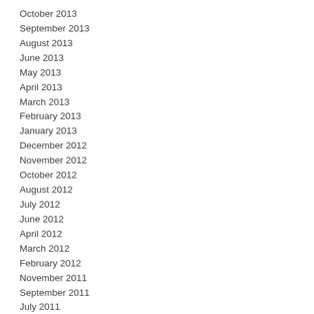October 2013
September 2013
August 2013
June 2013
May 2013
April 2013
March 2013
February 2013
January 2013
December 2012
November 2012
October 2012
August 2012
July 2012
June 2012
April 2012
March 2012
February 2012
November 2011
September 2011
July 2011